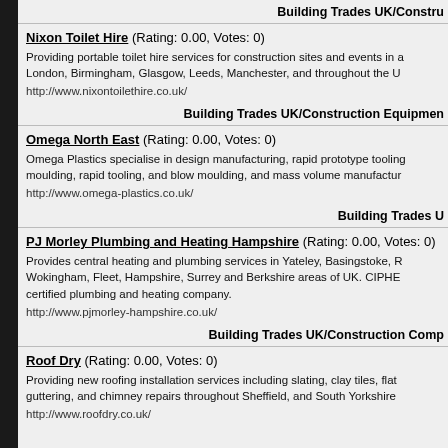Building Trades UK/Constru
Nixon Toilet Hire (Rating: 0.00, Votes: 0)
Providing portable toilet hire services for construction sites and events in a London, Birmingham, Glasgow, Leeds, Manchester, and throughout the U
http://www.nixontoilethire.co.uk/
Building Trades UK/Construction Equipmen
Omega North East (Rating: 0.00, Votes: 0)
Omega Plastics specialise in design manufacturing, rapid prototype tooling moulding, rapid tooling, and blow moulding, and mass volume manufactur
http://www.omega-plastics.co.uk/
Building Trades U
PJ Morley Plumbing and Heating Hampshire (Rating: 0.00, Votes: 0)
Provides central heating and plumbing services in Yateley, Basingstoke, R Wokingham, Fleet, Hampshire, Surrey and Berkshire areas of UK. CIPHE certified plumbing and heating company.
http://www.pjmorley-hampshire.co.uk/
Building Trades UK/Construction Comp
Roof Dry (Rating: 0.00, Votes: 0)
Providing new roofing installation services including slating, clay tiles, flat guttering, and chimney repairs throughout Sheffield, and South Yorkshire
http://www.roofdry.co.uk/